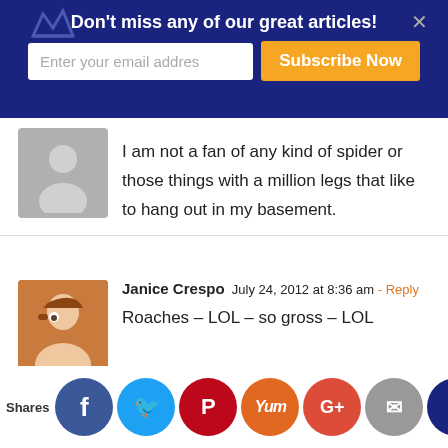[Figure (screenshot): Website subscription banner with dark blue background, crown icons, email input field, and orange Subscribe Now button]
I am not a fan of any kind of spider or those things with a million legs that like to hang out in my basement.
Janice Crespo  July 24, 2012 at 8:36 am - Reply
Roaches – LOL – so gross – LOL
Homero Gutierrez  July 24, 2012 at 8:47 am - Reply
The big flying roaches, tough enough on the
[Figure (screenshot): Social media sharing buttons row: Facebook, Twitter, Pinterest, Yummly, Google+, Email, Crown]